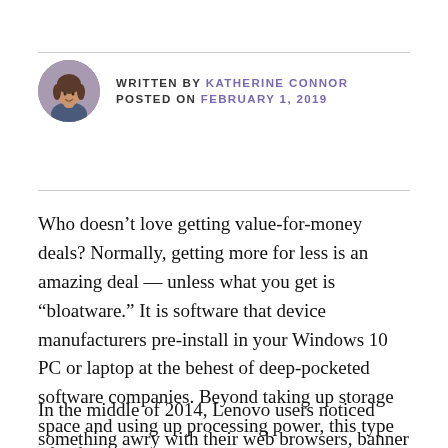WRITTEN BY KATHERINE CONNOR
POSTED ON FEBRUARY 1, 2019
Who doesn’t love getting value-for-money deals? Normally, getting more for less is an amazing deal — unless what you get is “bloatware.” It is software that device manufacturers pre-install in your Windows 10 PC or laptop at the behest of deep-pocketed software companies. Beyond taking up storage space and using up processing power, this type of software can open up your device to all sorts of cyberthreats. To ward them off, read on.
In the middle of 2014, Lenovo users noticed something awry with their web browsers, banner